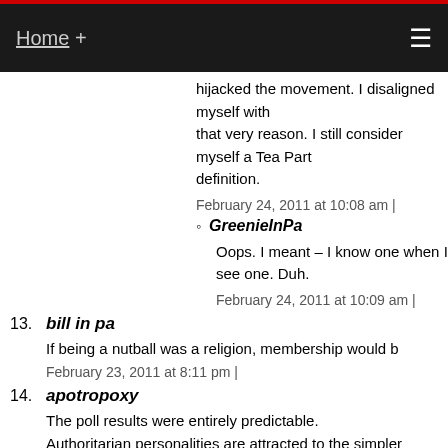Home +
hijacked the movement. I disaligned myself with that very reason. I still consider myself a Tea Party by definition.
February 24, 2011 at 10:08 am |
GreenieInPa
Oops. I meant – I know one when I see one. Duh.
February 24, 2011 at 10:09 am |
13. bill in pa
If being a nutball was a religion, membership would b
February 23, 2011 at 8:11 pm |
14. apotropoxy
The poll results were entirely predictable. Authoritarian personalities are attracted to the simpler reactionaries huddle to evangelization's promise of sa swarm to the political pulpit of profound ignorance